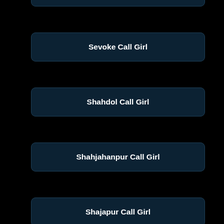Medak Call Girl
Serang Call Girl
Serbia Call Girl
Sevoke Call Girl
Shahdol Call Girl
Shahjahanpur Call Girl
Shajapur Call Girl
Sharjah Call Girl
[Figure (infographic): WhatsApp click to chat button with green WhatsApp logo on red background]
Call Vanishka Now - 8890799022
[Figure (infographic): Green phone icon with Click here text]
WhatsApp To Vanishka - 8890799022